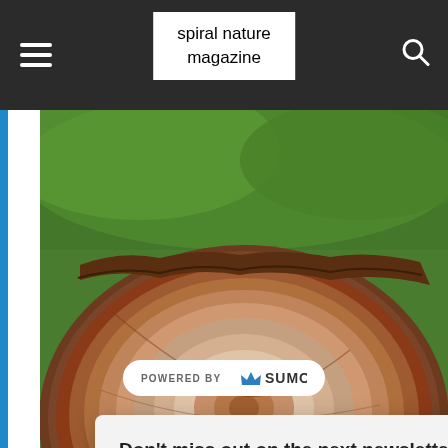spiral nature magazine
[Figure (photo): Close-up cross-section of a tree trunk/log showing growth rings, with blurred green foliage in the background.]
Don't miss out on the next newsletter from Spiral Nature!
Get the latest in occulture delivered straight to your inbox once a week. Free!
Enter your email address
SUBSCRIBE NOW